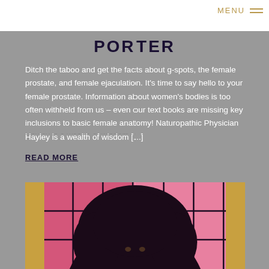MENU
PORTER
Ditch the taboo and get the facts about g-spots, the female prostate, and female ejaculation. It's time to say hello to your female prostate. Information about women's bodies is too often withheld from us – even our text books are missing key inclusions to basic female anatomy! Naturopathic Physician Hayley is a wealth of wisdom [...]
READ MORE
[Figure (photo): A woman with large natural hair photographed against a pink and red background with geometric grid elements and gold accents on the sides.]